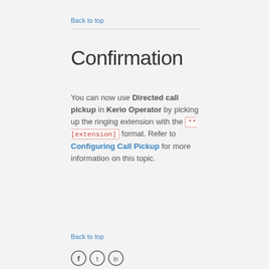Back to top
Confirmation
You can now use Directed call pickup in Kerio Operator by picking up the ringing extension with the **[extension] format. Refer to Configuring Call Pickup for more information on this topic.
Back to top